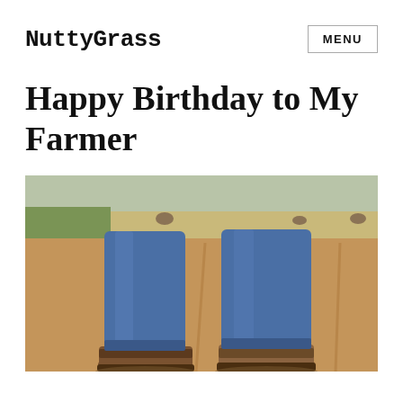NuttyGrass
Happy Birthday to My Farmer
[Figure (photo): Close-up photo of a farmer's legs in blue jeans and brown leather work boots standing in a plowed dirt field with rows of soil visible. Green crops visible in the background on the left, haybales in the distant background.]